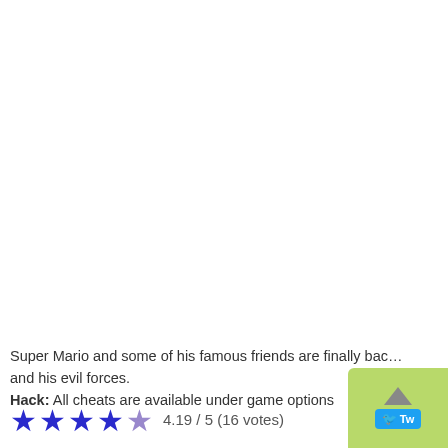Super Mario and some of his famous friends are finally bac... and his evil forces.
Hack: All cheats are available under game options
4.19 / 5 (16 votes)